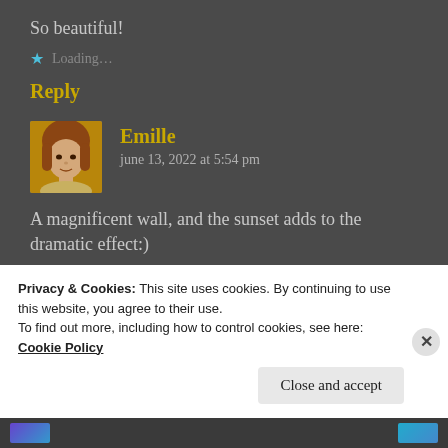So beautiful!
★ Loading…
Reply
[Figure (photo): Avatar photo of Emille, a woman with auburn hair]
Emille
june 13, 2022 at 5:54 pm
A magnificent wall, and the sunset adds to the dramatic effect:)
Privacy & Cookies: This site uses cookies. By continuing to use this website, you agree to their use.
To find out more, including how to control cookies, see here:
Cookie Policy
Close and accept